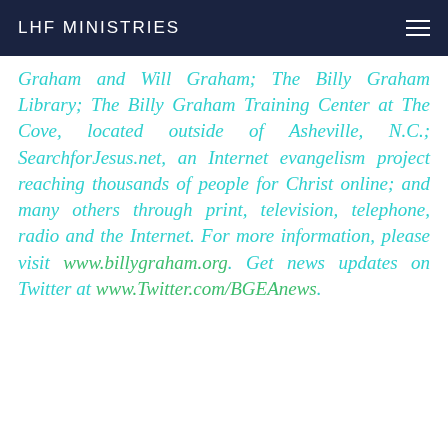LHF MINISTRIES
Graham and Will Graham; The Billy Graham Library; The Billy Graham Training Center at The Cove, located outside of Asheville, N.C.; SearchforJesus.net, an Internet evangelism project reaching thousands of people for Christ online; and many others through print, television, telephone, radio and the Internet. For more information, please visit www.billygraham.org. Get news updates on Twitter at www.Twitter.com/BGEAnews.